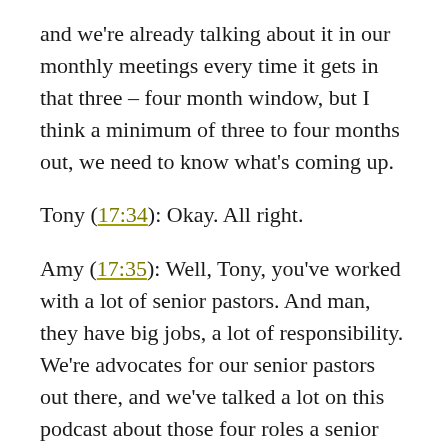and we're already talking about it in our monthly meetings every time it gets in that three – four month window, but I think a minimum of three to four months out, we need to know what's coming up.
Tony (17:34): Okay. All right.
Amy (17:35): Well, Tony, you've worked with a lot of senior pastors. And man, they have big jobs, a lot of responsibility. We're advocates for our senior pastors out there, and we've talked a lot on this podcast about those four roles a senior pastor can't delegate, and of them is being the primary teacher for their church. How big of an impact does a senior pastor's focus and development of their teaching, do you think, have on creating